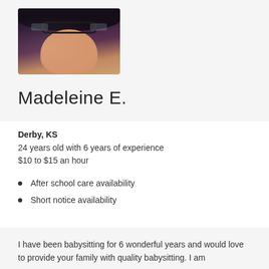[Figure (photo): Profile photo of Madeleine E., a young woman with dark hair and glasses, close-up selfie on dark background]
Madeleine E.
Derby, KS
24 years old with 6 years of experience
$10 to $15 an hour
After school care availability
Short notice availability
I have been babysitting for 6 wonderful years and would love to provide your family with quality babysitting. I am